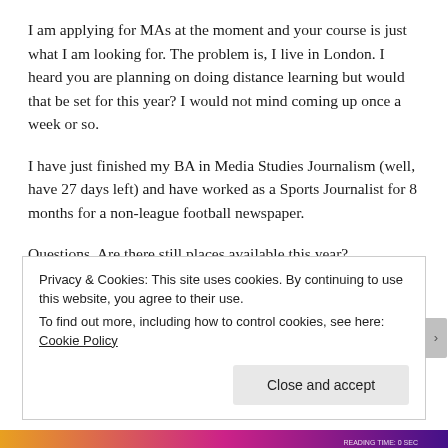I am applying for MAs at the moment and your course is just what I am looking for. The problem is, I live in London. I heard you are planning on doing distance learning but would that be set for this year? I would not mind coming up once a week or so.
I have just finished my BA in Media Studies Journalism (well, have 27 days left) and have worked as a Sports Journalist for 8 months for a non-league football newspaper.
Questions. Are there still places available this year?
Privacy & Cookies: This site uses cookies. By continuing to use this website, you agree to their use.
To find out more, including how to control cookies, see here: Cookie Policy
Close and accept